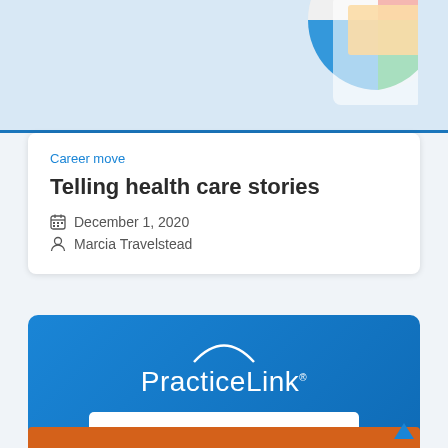[Figure (illustration): Partial pie chart graphic in top-right corner on light blue background]
Career move
Telling health care stories
December 1, 2020
Marcia Travelstead
[Figure (logo): PracticeLink logo on blue gradient background with Subscribe for Free button]
[Figure (photo): Partial orange-tinted photo at bottom of page]